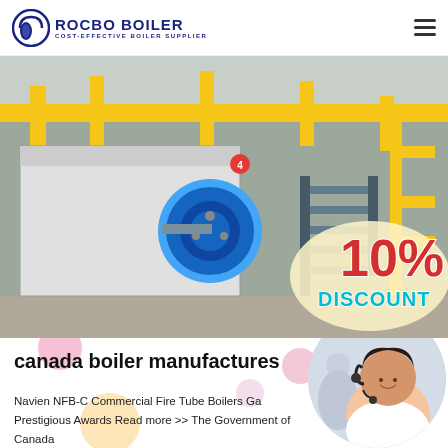ROCBO BOILER - COST-EFFECTIVE BOILER SUPPLIER
[Figure (photo): Industrial boiler facility showing large blue cylindrical boiler unit with yellow pipes and a 10% DISCOUNT badge overlay]
canada boiler manufactures
Navien NFB-C Commercial Fire Tube Boilers Ga... Prestigious Awards Read more >> The Government of Canada